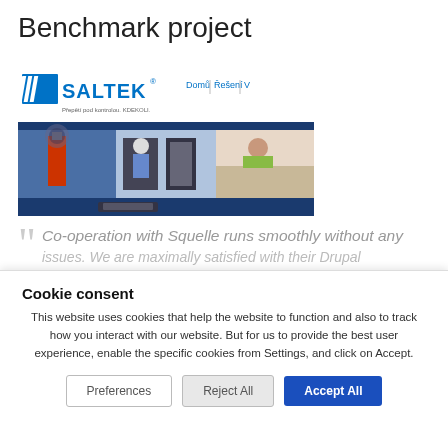Benchmark project
[Figure (screenshot): SALTEK website screenshot showing logo, navigation bar with 'Domů | Řešení | V', and a banner with three images: telecommunication tower, server room with IT professional, and woman on couch with laptop]
Co-operation with Squelle runs smoothly without any issues. We are maximally satisfied with their Drupal
Cookie consent
This website uses cookies that help the website to function and also to track how you interact with our website. But for us to provide the best user experience, enable the specific cookies from Settings, and click on Accept.
Preferences | Reject All | Accept All